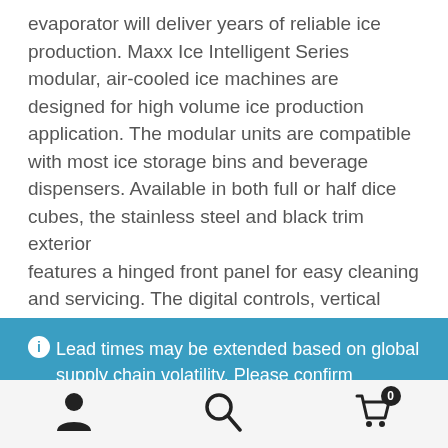evaporator will deliver years of reliable ice production. Maxx Ice Intelligent Series modular, air-cooled ice machines are designed for high volume ice production application. The modular units are compatible with most ice storage bins and beverage dispensers. Available in both full or half dice cubes, the stainless steel and black trim exterior features a hinged front panel for easy cleaning and servicing. The digital controls, vertical evaporator and
Lead times may be extended based on global supply chain volatility. Please confirm availability prior to placing your order. Dismiss